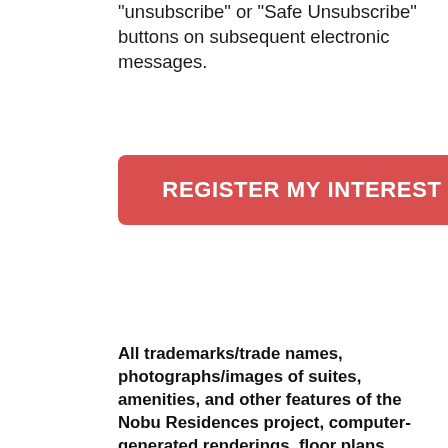“unsubscribe” or “Safe Unsubscribe” buttons on subsequent electronic messages.
[Figure (other): Red button with white text reading REGISTER MY INTEREST]
All trademarks/trade names, photographs/images of suites, amenities, and other features of the Nobu Residences project, computer-generated renderings, floor plans, architectural plans, and suite designs are copyright of 35 Mercer Limited and/or of others that are used under license. Living Realty Brokerage Inc. is not affiliated with or related to 35 Mercer Limited and/or Nobu Hospitality. Unauthorized use is prohibited. Full details of the terms and provisions governing the purchase of units are contained solely within the agreement of purchase and sale entered into between